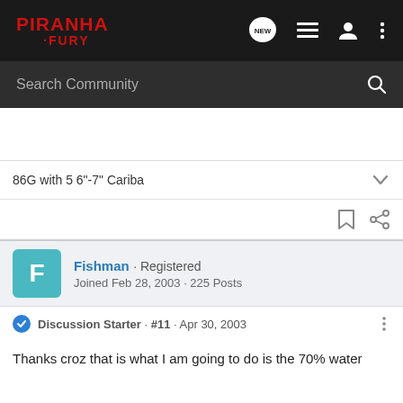[Figure (logo): Piranha Fury forum logo in red text on dark background nav bar with icons for new posts, list, user, and more]
Search Community
86G with 5 6"-7" Cariba
Fishman · Registered
Joined Feb 28, 2003 · 225 Posts
Discussion Starter · #11 · Apr 30, 2003
Thanks croz that is what I am going to do is the 70% water